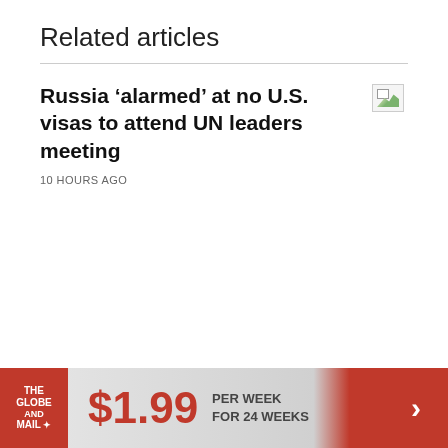Related articles
Russia ‘alarmed’ at no U.S. visas to attend UN leaders meeting
10 HOURS AGO
[Figure (logo): The Globe and Mail logo with red background and maple leaf]
$1.99 PER WEEK FOR 24 WEEKS